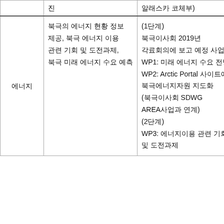| 분류 | 내용 | 진행 현황 |
| --- | --- | --- |
|  | 진 | 알래스카 코체부) |
| 에너지 | 북극의 에너지 현황 정보 제공, 북극 에너지 이용 관련 기회 및 도전과제, 북극 미래 에너지 수요 예측 | (1단계)
북극이사회 2019년 각료회의에 보고 예정 사업
WP1: 미래 에너지 수요 전망
WP2: Arctic Portal 사이트에 북극에너지자원 지도화(북극이사회 SDWG AREA사업과 연계)
(2단계)
WP3: 에너지이용 관련 기회 및 도전과제 |